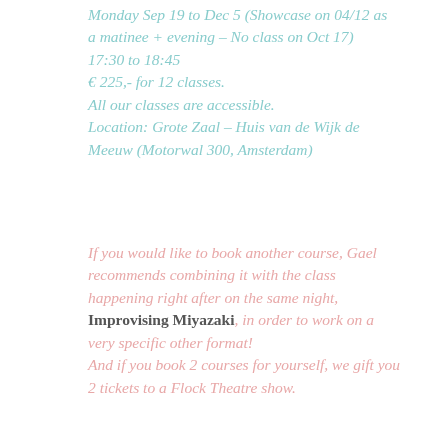Monday Sep 19 to Dec 5 (Showcase on 04/12 as a matinee + evening – No class on Oct 17)
17:30 to 18:45
€ 225,- for 12 classes.
All our classes are accessible.
Location: Grote Zaal – Huis van de Wijk de Meeuw (Motorwal 300, Amsterdam)
If you would like to book another course, Gael recommends combining it with the class happening right after on the same night, Improvising Miyazaki, in order to work on a very specific other format!
And if you book 2 courses for yourself, we gift you 2 tickets to a Flock Theatre show.